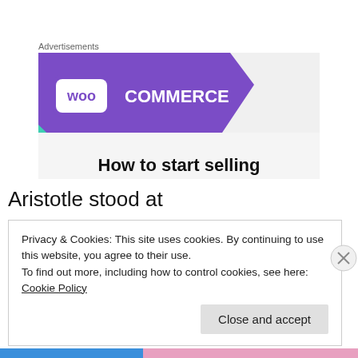Advertisements
[Figure (illustration): WooCommerce advertisement banner showing the WooCommerce logo on a purple background with teal and blue geometric shapes, and the text 'How to start selling']
Aristotle stood at
Privacy & Cookies: This site uses cookies. By continuing to use this website, you agree to their use.
To find out more, including how to control cookies, see here: Cookie Policy
Close and accept